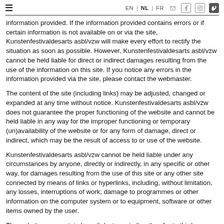≡  EN | NL | FR
information provided. If the information provided contains errors or if certain information is not available on or via the site, Kunstenfestivaldesarts asbl/vzw will make every effort to rectify the situation as soon as possible. However, Kunstenfestivaldesarts asbl/vzw cannot be held liable for direct or indirect damages resulting from the use of the information on this site. If you notice any errors in the information provided via the site, please contact the webmaster.
The content of the site (including links) may be adjusted, changed or expanded at any time without notice. Kunstenfestivaldesarts asbl/vzw does not guarantee the proper functioning of the website and cannot be held liable in any way for the improper functioning or temporary (un)availability of the website or for any form of damage, direct or indirect, which may be the result of access to or use of the website.
Kunstenfestivaldesarts asbl/vzw cannot be held liable under any circumstances by anyone, directly or indirectly, in any specific or other way, for damages resulting from the use of this site or any other site connected by means of links or hyperlinks, including, without limitation, any losses, interruptions of work, damage to programmes or other information on the computer system or to equipment, software or other items owned by the user.
The website may contain hyperlinks to, or indirectly refer to third-